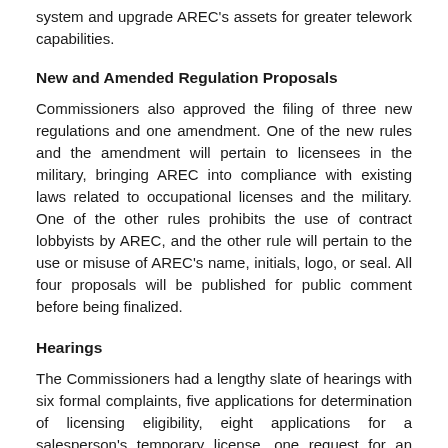system and upgrade AREC's assets for greater telework capabilities.
New and Amended Regulation Proposals
Commissioners also approved the filing of three new regulations and one amendment. One of the new rules and the amendment will pertain to licensees in the military, bringing AREC into compliance with existing laws related to occupational licenses and the military. One of the other rules prohibits the use of contract lobbyists by AREC, and the other rule will pertain to the use or misuse of AREC's name, initials, logo, or seal. All four proposals will be published for public comment before being finalized.
Hearings
The Commissioners had a lengthy slate of hearings with six formal complaints, five applications for determination of licensing eligibility, eight applications for a salesperson's temporary license, one request for an extension to apply for